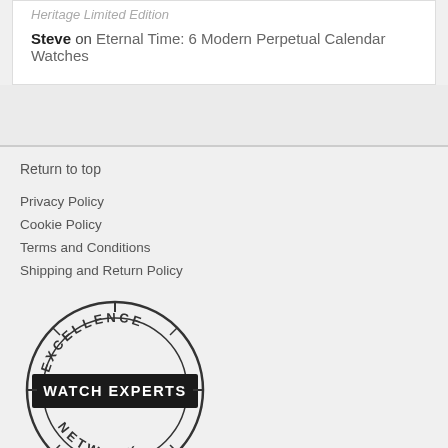Heritage Limited Edition
Steve on Eternal Time: 6 Modern Perpetual Calendar Watches
Return to top
Privacy Policy
Cookie Policy
Terms and Conditions
Shipping and Return Policy
[Figure (logo): Excellence Watch Experts Network circular stamp logo with text WATCH EXPERTS on a dark banner across the middle]
Free Newsletter
About WatchTime